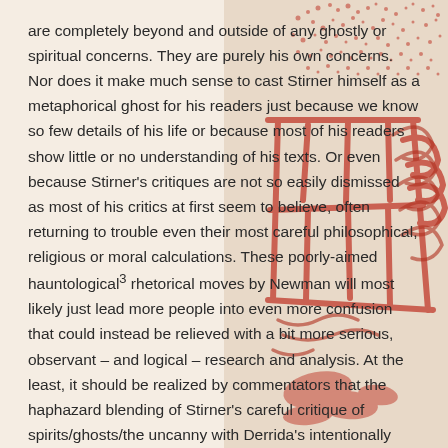are completely beyond and outside of any ghostly or spiritual concerns. They are purely his own concerns. Nor does it make much sense to cast Stirner himself as a metaphorical ghost for his readers just because we know so few details of his life or because most of his readers show little or no understanding of his texts. Or even because Stirner's critiques are not so easily dismissed as most of his critics at first seem to believe, often returning to trouble even their most careful philosophical, religious or moral calculations. These poorly-aimed hauntological³ rhetorical moves by Newman will most likely just lead more people into even more confusion that could instead be relieved with a bit more serious, observant – and logical – research and analysis. At the least, it should be realized by commentators that the haphazard blending of Stirner's careful critique of spirits/ghosts/the uncanny with Derrida's intentionally vague and capricious trope will never be likely to lead to an increased understanding of Stirner when there are already so many mystifications of Stirner's arguments that readers must
[Figure (illustration): A red decorative stamp or seal impression overlaid on the right side of the page, featuring what appears to be Chinese/Japanese characters or abstract calligraphic marks in red ink, partially transparent, over a lighter tan/beige background.]